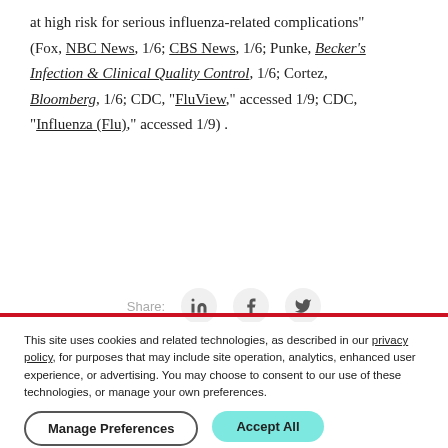at high risk for serious influenza-related complications" (Fox, NBC News, 1/6; CBS News, 1/6; Punke, Becker's Infection & Clinical Quality Control, 1/6; Cortez, Bloomberg, 1/6; CDC, "FluView," accessed 1/9; CDC, "Influenza (Flu)," accessed 1/9) .
[Figure (other): Share bar with LinkedIn, Facebook, and Twitter icons]
This site uses cookies and related technologies, as described in our privacy policy, for purposes that may include site operation, analytics, enhanced user experience, or advertising. You may choose to consent to our use of these technologies, or manage your own preferences.
Manage Preferences | Accept All